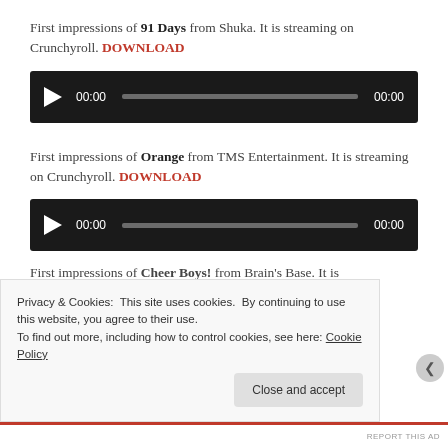First impressions of 91 Days from Shuka. It is streaming on Crunchyroll. DOWNLOAD
[Figure (other): Audio player widget with play button, time display 00:00, progress bar, and duration 00:00 on dark background]
First impressions of Orange from TMS Entertainment. It is streaming on Crunchyroll. DOWNLOAD
[Figure (other): Audio player widget with play button, time display 00:00, progress bar, and duration 00:00 on dark background]
First impressions of Cheer Boys! from Brain's Base. It is
Privacy & Cookies: This site uses cookies. By continuing to use this website, you agree to their use. To find out more, including how to control cookies, see here: Cookie Policy
Close and accept